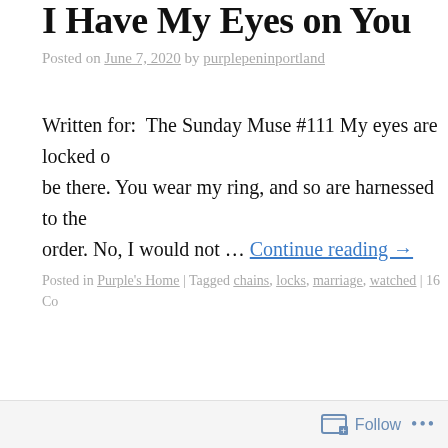I Have My Eyes on You
Posted on June 7, 2020 by purplepeninportland
Written for:  The Sunday Muse #111 My eyes are locked on where you will be there. You wear my ring, and so are harnessed to the order. No, I would not … Continue reading →
Posted in Purple's Home | Tagged chains, locks, marriage, watched | 16 Co…